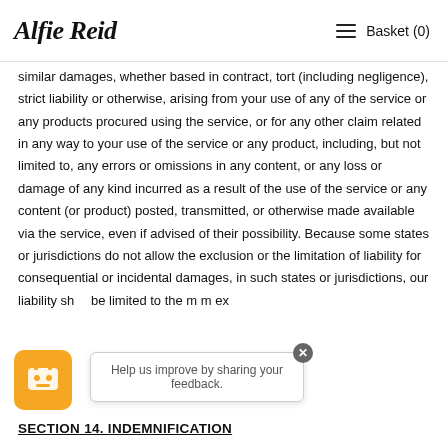Alfie Reid  ≡  Basket (0)
similar damages, whether based in contract, tort (including negligence), strict liability or otherwise, arising from your use of any of the service or any products procured using the service, or for any other claim related in any way to your use of the service or any product, including, but not limited to, any errors or omissions in any content, or any loss or damage of any kind incurred as a result of the use of the service or any content (or product) posted, transmitted, or otherwise made available via the service, even if advised of their possibility. Because some states or jurisdictions do not allow the exclusion or the limitation of liability for consequential or incidental damages, in such states or jurisdictions, our liability shall be limited to the m...m ex...
[Figure (other): Chat bot icon (orange square with robot face) and feedback popup dialog saying 'Help us improve by sharing your feedback.' with a close button]
SECTION 14. INDEMNIFICATION